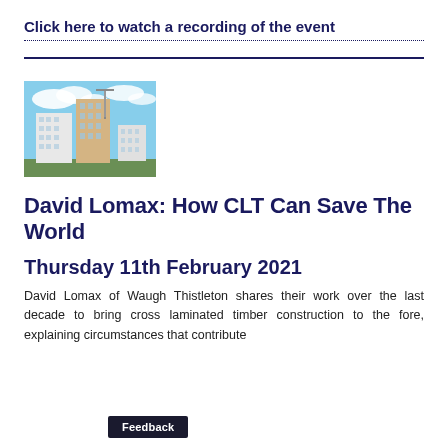Click here to watch a recording of the event
[Figure (photo): Photograph of a multi-storey building under construction with cranes, blue sky and clouds in background]
David Lomax: How CLT Can Save The World
Thursday 11th February 2021
David Lomax of Waugh Thistleton shares their work over the last decade to bring cross laminated timber construction to the fore, explaining circumstances that contribute